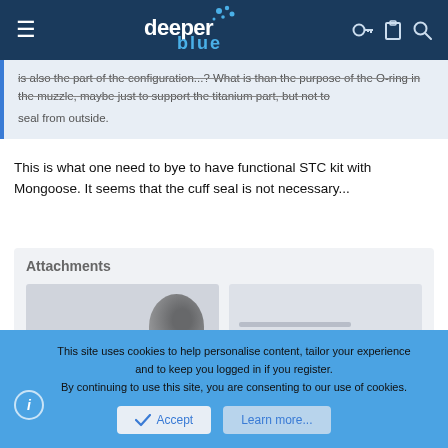deeper blue [website header with logo and navigation icons]
is also the part of the configuration...? What is than the purpose of the O-ring in the muzzle, maybe just to support the titanium part, but not to seal from outside.
This is what one need to bye to have functional STC kit with Mongoose. It seems that the cuff seal is not necessary...
Attachments
[Figure (photo): Two blurred attachment thumbnail images side by side]
This site uses cookies to help personalise content, tailor your experience and to keep you logged in if you register. By continuing to use this site, you are consenting to our use of cookies.
Accept  Learn more...